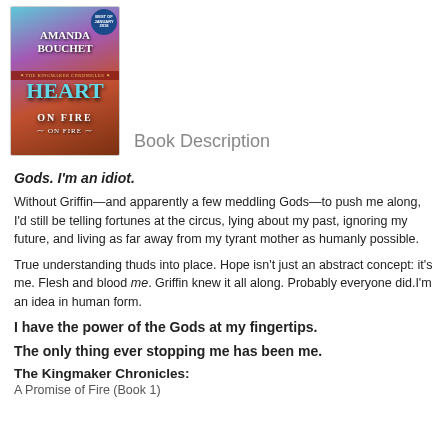[Figure (illustration): Book cover of 'Heart on Fire' by Amanda Bouchet, The Kingmaker Chronicles, with a fantasy-themed colorful cover showing the title in large teal letters, author name in white, and a 'Best of January 2018' badge.]
Book Description
Gods. I'm an idiot.
Without Griffin—and apparently a few meddling Gods—to push me along, I'd still be telling fortunes at the circus, lying about my past, ignoring my future, and living as far away from my tyrant mother as humanly possible.
True understanding thuds into place. Hope isn't just an abstract concept: it's me. Flesh and blood me. Griffin knew it all along. Probably everyone did.I'm an idea in human form.
I have the power of the Gods at my fingertips.
The only thing ever stopping me has been me.
The Kingmaker Chronicles:
A Promise of Fire (Book 1)